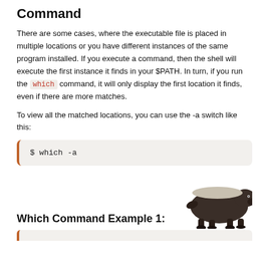Command
There are some cases, where the executable file is placed in multiple locations or you have different instances of the same program installed. If you execute a command, then the shell will execute the first instance it finds in your $PATH. In turn, if you run the which command, it will only display the first location it finds, even if there are more matches.
To view all the matched locations, you can use the -a switch like this:
$ which -a
Which Command Example 1:
[Figure (photo): Photo of a honey badger or similar animal at the bottom right of the page]